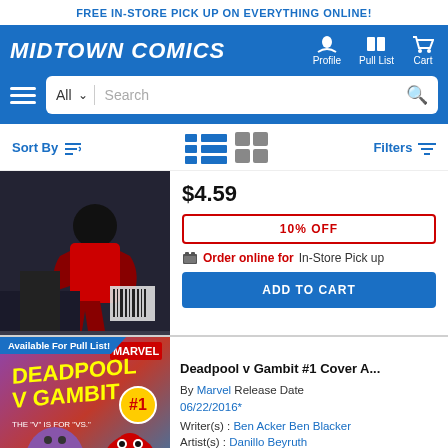FREE IN-STORE PICK UP ON EVERYTHING ONLINE!
[Figure (logo): Midtown Comics logo with navigation icons for Profile, Pull List, and Cart]
[Figure (screenshot): Search bar with All dropdown and search icon]
Sort By | view icons | Filters
[Figure (photo): Comic book cover - dark superhero figure]
$4.59
10% OFF
Order online for In-Store Pick up
ADD TO CART
Available For Pull List!
[Figure (photo): Deadpool v Gambit #1 comic book cover]
Deadpool v Gambit #1 Cover A...
By Marvel Release Date 06/22/2016*
Writer(s) : Ben Acker Ben Blacker
Artist(s) : Danillo Beyruth
Near Mint - $4.59